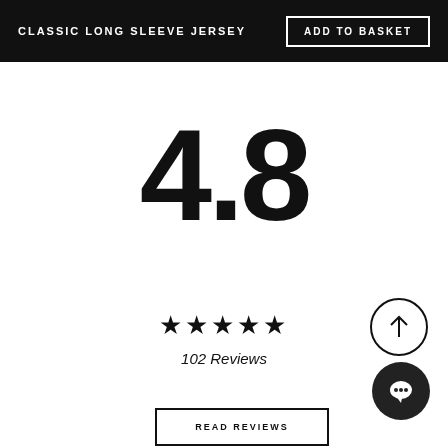CLASSIC LONG SLEEVE JERSEY
ADD TO BASKET
4.8
★★★★★
102 Reviews
READ REVIEWS